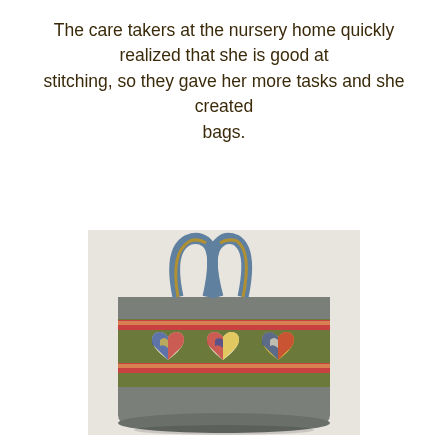The care takers at the nursery home quickly realized that she is good at stitching, so they gave her more tasks and she created bags.
[Figure (photo): A handmade quilted tote bag with olive green fabric body, grey-blue houndstooth top and bottom panels, floral ribbon trim, and three patchwork heart appliques on the front pocket area. The bag has two fabric handles.]